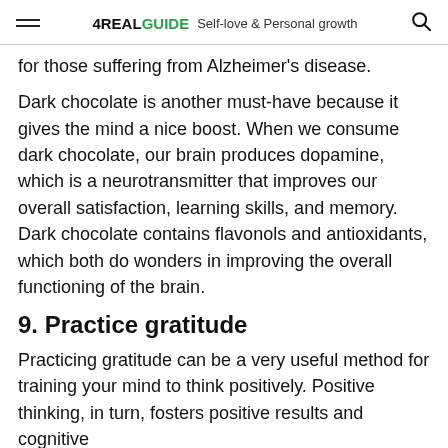4REALGUIDE  Self-love & Personal growth
for those suffering from Alzheimer's disease.
Dark chocolate is another must-have because it gives the mind a nice boost. When we consume dark chocolate, our brain produces dopamine, which is a neurotransmitter that improves our overall satisfaction, learning skills, and memory. Dark chocolate contains flavonols and antioxidants, which both do wonders in improving the overall functioning of the brain.
9. Practice gratitude
Practicing gratitude can be a very useful method for training your mind to think positively. Positive thinking, in turn, fosters positive results and cognitive